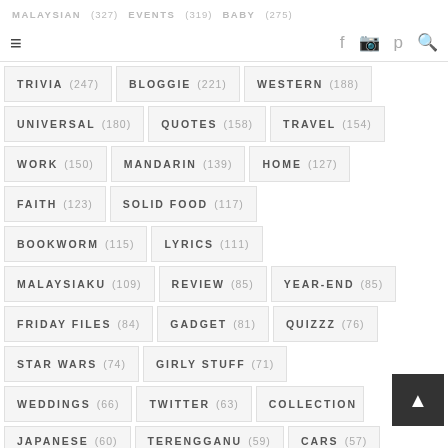≡  MALAYSIAN (327)  EVENTS (319)  BABY (275)  [social icons] [search]
TRIVIA (247)
BLOGGIE (221)
WESTERN (188)
UNIVERSAL (180)
QUOTES (158)
TRAVEL (154)
WORK (150)
MANDARIN (139)
HOME (127)
FAITH (123)
SOLID FOOD (117)
BOOKWORM (115)
LYRICS (111)
MALAYSIAKU (109)
REVIEW (85)
YEAR-END (85)
FRIDAY FILES (84)
GADGET (81)
QUIZZZ (76)
STAR WARS (74)
GIRLY STUFF (71)
WEDDINGS (66)
TWITTER (63)
COLLECTION (…)
JAPANESE (60)
TERENGGANU (59)
CARS (57)